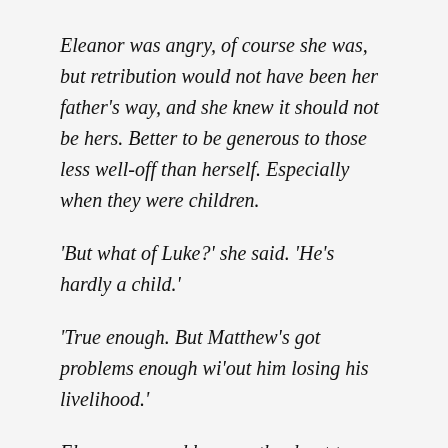Eleanor was angry, of course she was, but retribution would not have been her father's way, and she knew it should not be hers. Better to be generous to those less well-off than herself. Especially when they were children.
'But what of Luke?' she said. 'He's hardly a child.'
'True enough. But Matthew's got problems enough wi'out him losing his livelihood.'
Eleanor opened her mouth, about to say